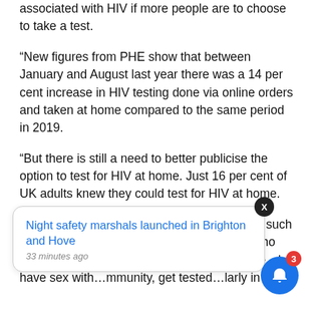associated with HIV if more people are to choose to take a test.
“New figures from PHE show that between January and August last year there was a 14 per cent increase in HIV testing done via online orders and taken at home compared to the same period in 2019.
“But there is still a need to better publicise the option to test for HIV at home. Just 16 per cent of UK adults knew they could test for HIV at home.
“It is critical that anyone who is at risk of HIV, such as those living in high-prevalence areas or who have recently had sex with a new partner, men who have sex with men in the community, get tested regularly in the